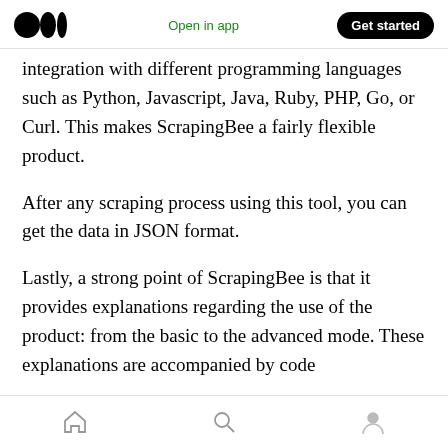Medium logo | Open in app | Get started
integration with different programming languages such as Python, Javascript, Java, Ruby, PHP, Go, or Curl. This makes ScrapingBee a fairly flexible product.
After any scraping process using this tool, you can get the data in JSON format.
Lastly, a strong point of ScrapingBee is that it provides explanations regarding the use of the product: from the basic to the advanced mode. These explanations are accompanied by code
Home | Search | Profile